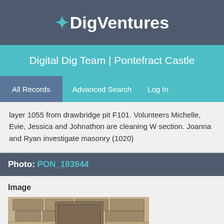DigVentures
Digital Dig Team | Pontefract Castle
All Records | Advanced Search | Log In
layer 1055 from drawbridge pit F101. Volunteers Michelle, Evie, Jessica and Johnathon are cleaning W section. Joanna and Ryan investigate masonry (1020)
Photo: PON_193944
Image
[Figure (photo): Archaeological excavation photo showing stone masonry and layers at Pontefract Castle drawbridge area]